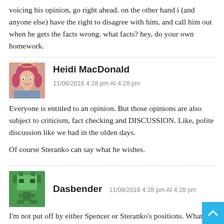voicing his opinion, go right ahead. on the other hand i (and anyone else) have the right to disagree with him, and call him out when he gets the facts wrong. what facts? hey, do your own homework.
Heidi MacDonald
11/08/2016 4:28 pm At 4:28 pm
Everyone is entitled to an opinion. But those opinions are also subject to criticism, fact checking and DISCUSSION. Like, polite discussion like we had in the olden days.

Of course Steranko can say what he wishes.
Dasbender 11/08/2016 4:28 pm At 4:28 pm
I'm not put off by either Spencer or Steranko's positions. What annoys the holy hell out of me is The Beat assuming two people from two different political part... couldn't collaborate together on making COMICS! And I...